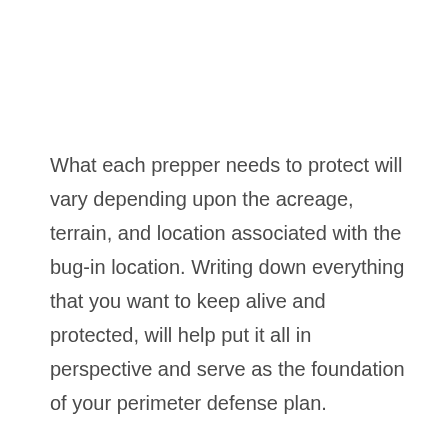What each prepper needs to protect will vary depending upon the acreage, terrain, and location associated with the bug-in location. Writing down everything that you want to keep alive and protected, will help put it all in perspective and serve as the foundation of your perimeter defense plan.